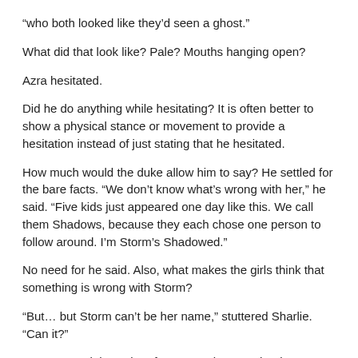“who both looked like they’d seen a ghost.”
What did that look like? Pale? Mouths hanging open?
Azra hesitated.
Did he do anything while hesitating? It is often better to show a physical stance or movement to provide a hesitation instead of just stating that he hesitated.
How much would the duke allow him to say? He settled for the bare facts. “We don’t know what’s wrong with her,” he said. “Five kids just appeared one day like this. We call them Shadows, because they each chose one person to follow around. I’m Storm’s Shadowed.”
No need for he said. Also, what makes the girls think that something is wrong with Storm?
“But… but Storm can’t be her name,” stuttered Sharlie. “Can it?”
You reversed the order of your speaker tag, that is, stuttered Sharlie instead of Sharlie stuttered. Either order is allowed, but you should be consistent.